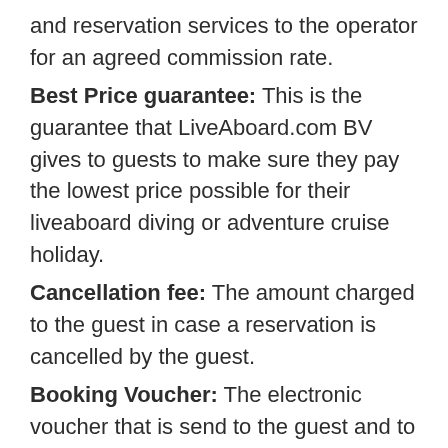and reservation services to the operator for an agreed commission rate.
Best Price guarantee: This is the guarantee that LiveAboard.com BV gives to guests to make sure they pay the lowest price possible for their liveaboard diving or adventure cruise holiday.
Cancellation fee: The amount charged to the guest in case a reservation is cancelled by the guest.
Booking Voucher: The electronic voucher that is send to the guest and to the operator to confirm a reservation.
Force Majeure Event: An event that is beyond the control of the operator or the agent, such as natural disasters, political unrest, criminal attacks, etc.
Guest: The people going on a trip offered by the